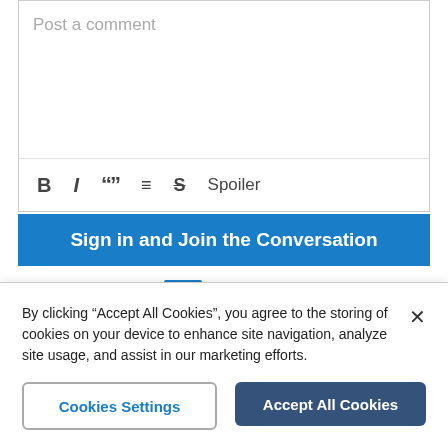[Figure (screenshot): Comment text input box with placeholder text 'Post a comment' and a formatting toolbar with Bold, Italic, Quote, List, Strikethrough, and Spoiler buttons]
Sign in and Join the Conversation
All Comments 0
Newest
By clicking "Accept All Cookies", you agree to the storing of cookies on your device to enhance site navigation, analyze site usage, and assist in our marketing efforts.
Cookies Settings
Accept All Cookies